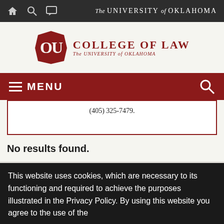The UNIVERSITY of OKLAHOMA — College of Law navigation header
[Figure (logo): OU College of Law logo with crimson OU interlocking letters and text: COLLEGE OF LAW, The University of Oklahoma]
MENU
(405) 325-7479.
No results found.
This website uses cookies, which are necessary to its functioning and required to achieve the purposes illustrated in the Privacy Policy. By using this website you agree to the use of the